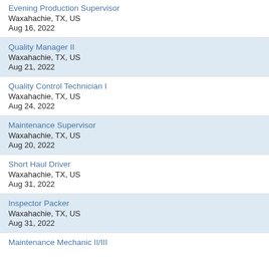Evening Production Supervisor
Waxahachie, TX, US
Aug 16, 2022
Quality Manager II
Waxahachie, TX, US
Aug 21, 2022
Quality Control Technician I
Waxahachie, TX, US
Aug 24, 2022
Maintenance Supervisor
Waxahachie, TX, US
Aug 20, 2022
Short Haul Driver
Waxahachie, TX, US
Aug 31, 2022
Inspector Packer
Waxahachie, TX, US
Aug 31, 2022
Maintenance Mechanic II/III